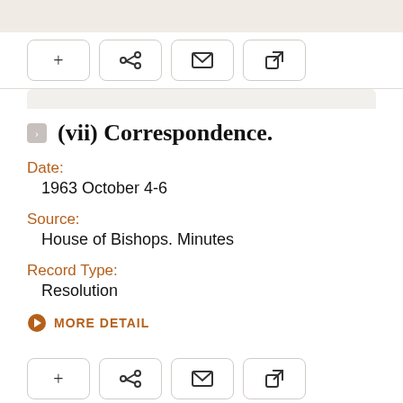[Figure (screenshot): Top toolbar with four icon buttons: plus, share, email, and external link]
(vii) Correspondence.
Date:
1963 October 4-6
Source:
House of Bishops. Minutes
Record Type:
Resolution
MORE DETAIL
[Figure (screenshot): Bottom toolbar with four icon buttons: plus, share, email, and external link]